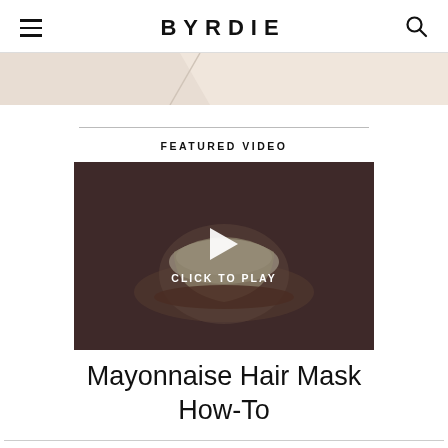BYRDIE
[Figure (illustration): Decorative banner strip with diagonal geometric shapes in beige/tan color]
FEATURED VIDEO
[Figure (photo): Video thumbnail showing a bowl with mayonnaise or white creamy substance on a dark brownish background, with a play button triangle and 'CLICK TO PLAY' text overlay]
Mayonnaise Hair Mask How-To